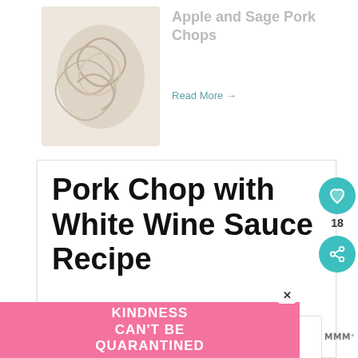Apple and Sage Pork Chops
Read More →
Pork Chop with White Wine Sauce Recipe
A simple recipe for bone-in pork with a white wine pan sauce. Recipe
WHAT'S NEXT → Whiskey Miso Pork Chops
KINDNESS CAN'T BE QUARANTINED